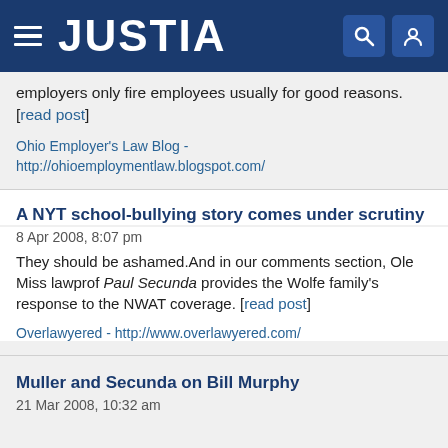JUSTIA
employers only fire employees usually for good reasons. [read post]
Ohio Employer's Law Blog - http://ohioemploymentlaw.blogspot.com/
A NYT school-bullying story comes under scrutiny
8 Apr 2008, 8:07 pm
They should be ashamed.And in our comments section, Ole Miss lawprof Paul Secunda provides the Wolfe family's response to the NWAT coverage. [read post]
Overlawyered - http://www.overlawyered.com/
Muller and Secunda on Bill Murphy
21 Mar 2008, 10:32 am